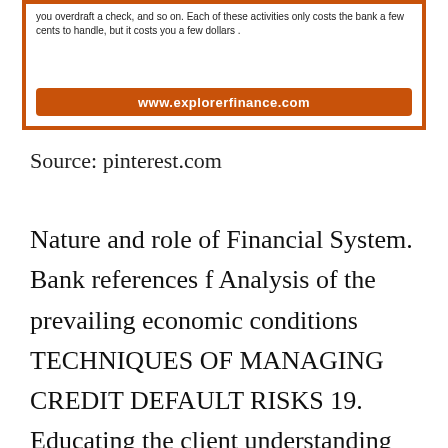[Figure (screenshot): Screenshot of a finance website box with text about bank overdraft fees and a URL bar showing www.explorerfinance.com, within an orange border.]
Source: pinterest.com
Nature and role of Financial System. Bank references f Analysis of the prevailing economic conditions TECHNIQUES OF MANAGING CREDIT DEFAULT RISKS 19. Educating the client understanding the clients financial needs and verifying that recommendations regarding assets and liabilities are adapted according to the